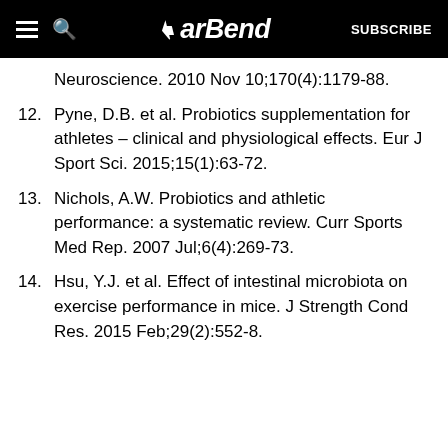BarBend — SUBSCRIBE
Neuroscience. 2010 Nov 10;170(4):1179-88.
12. Pyne, D.B. et al. Probiotics supplementation for athletes – clinical and physiological effects. Eur J Sport Sci. 2015;15(1):63-72.
13. Nichols, A.W. Probiotics and athletic performance: a systematic review. Curr Sports Med Rep. 2007 Jul;6(4):269-73.
14. Hsu, Y.J. et al. Effect of intestinal microbiota on exercise performance in mice. J Strength Cond Res. 2015 Feb;29(2):552-8.